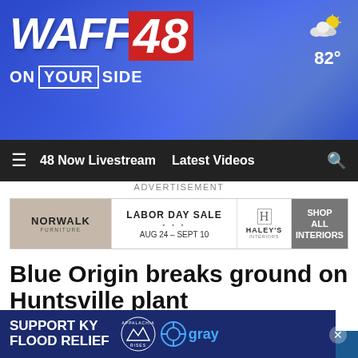[Figure (logo): WAFF 48 News logo with 'ON YOUR SIDE' tagline on blue gradient background with weather showing 82 degrees]
48 Now Livestream  Latest Videos
ADVERTISEMENT
[Figure (screenshot): Norwalk Furniture advertisement banner - Labor Day Sale, AUG 24 - SEPT 10, Haley's Interiors, SHOP ALL INTERIORS]
Blue Origin breaks ground on Huntsville plant
[Figure (photo): Blue Origin groundbreaking photo showing tractor on left and Blue Origin banner on right with Huntsville text]
SUPPORT KY FLOOD RELIEF